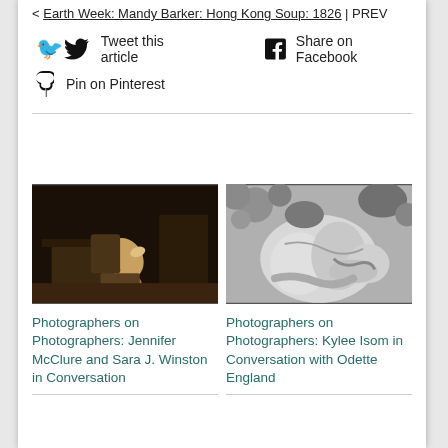< Earth Week: Mandy Barker: Hong Kong Soup: 1826 | PREV
Tweet this article
Share on Facebook
Pin on Pinterest
[Figure (photo): Dark dramatic photo of a person crouched/contorted on a bed or couch in dim lighting]
[Figure (photo): Black and white photo of a pregnant belly with hands cradling it, foliage in background]
Photographers on Photographers: Jennifer McClure and Sara J. Winston in Conversation
Photographers on Photographers: Kylee Isom in Conversation with Odette England